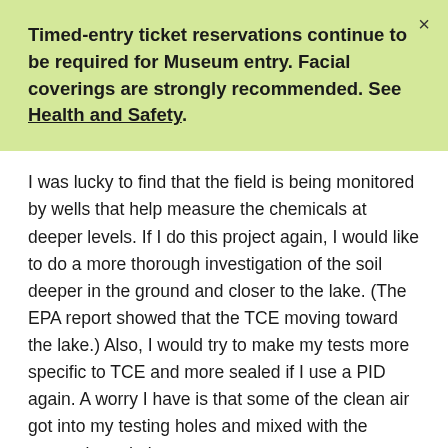Timed-entry ticket reservations continue to be required for Museum entry. Facial coverings are strongly recommended. See Health and Safety.
I was lucky to find that the field is being monitored by wells that help measure the chemicals at deeper levels. If I do this project again, I would like to do a more thorough investigation of the soil deeper in the ground and closer to the lake. (The EPA report showed that the TCE moving toward the lake.) Also, I would try to make my tests more specific to TCE and more sealed if I use a PID again. A worry I have is that some of the clean air got into my testing holes and mixed with the contaminated air.
For now, I believe my testing has confirmed my